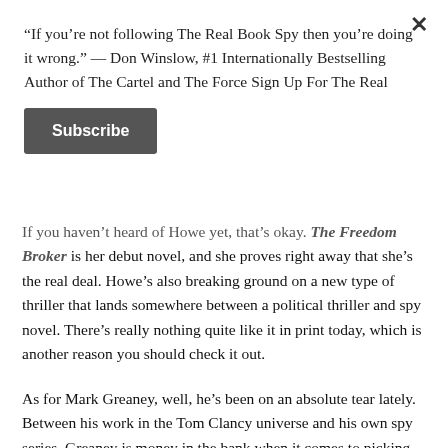“If you’re not following The Real Book Spy then you’re doing it wrong.” — Don Winslow, #1 Internationally Bestselling Author of The Cartel and The Force Sign Up For The Real
Subscribe
If you haven’t heard of Howe yet, that’s okay. The Freedom Broker is her debut novel, and she proves right away that she’s the real deal. Howe’s also breaking ground on a new type of thriller that lands somewhere between a political thriller and spy novel. There’s really nothing quite like it in print today, which is another reason you should check it out.
As for Mark Greaney, well, he’s been on an absolute tear lately. Between his work in the Tom Clancy universe and his own spy series, Greaney is money in the bank when it comes to picking up a new book. He’s dialed in, and his latest Gray Man thriller proves